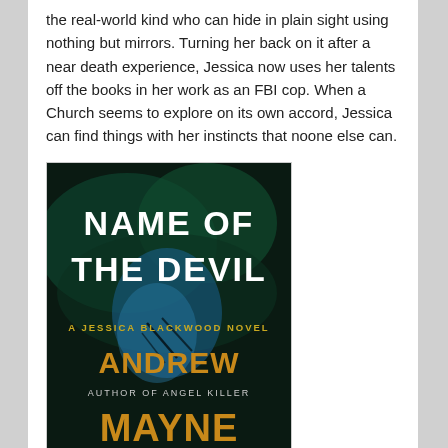the real-world kind who can hide in plain sight using nothing but mirrors. Turning her back on it after a near death experience, Jessica now uses her talents off the books in her work as an FBI cop. When a Church seems to explore on its own accord, Jessica can find things with her instincts that noone else can.
[Figure (illustration): Book cover of 'Name of the Devil: A Jessica Blackwood Novel' by Andrew Mayne, Author of Angel Killer. Dark teal/black background with large white bold text for the title, gold/amber text for the author name and series name.]